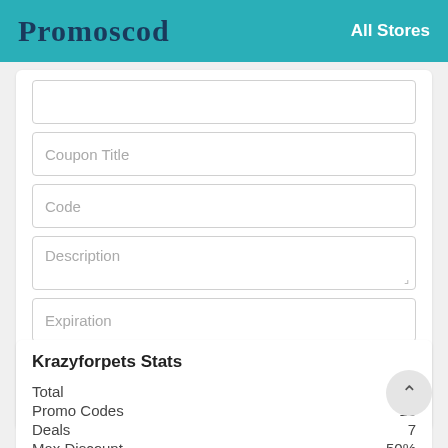Promoscod   All Stores
Coupon Title
Code
Description
Expiration
Submit
Krazyforpets Stats
|  |  |
| --- | --- |
| Total |  |
| Promo Codes | 13 |
| Deals | 7 |
| Max Discount | 50% |